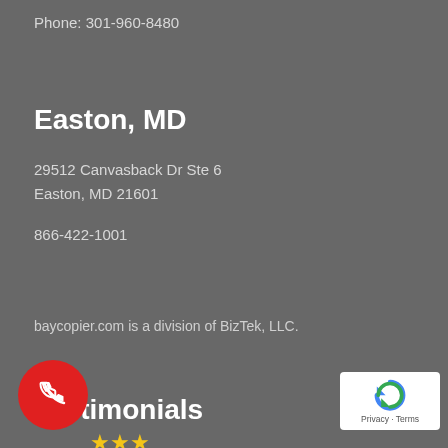Phone: 301-960-8480
Easton, MD
29512 Canvasback Dr Ste 6
Easton, MD 21601
866-422-1001
baycopier.com is a division of BizTek, LLC.
Testimonials
[Figure (other): Red phone call button (circular icon) overlapping bottom-left area]
[Figure (other): Star rating showing approximately 3 gold stars visible]
[Figure (other): Google reCAPTCHA badge with 'Privacy · Terms' text in bottom-right corner]